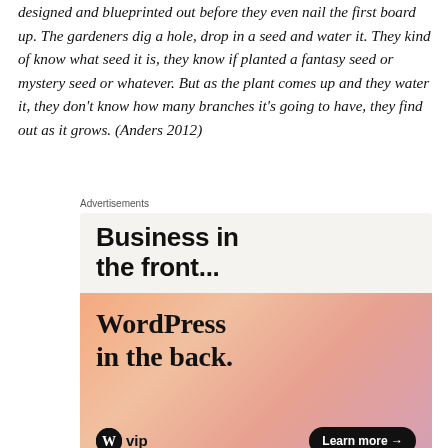designed and blueprinted out before they even nail the first board up. The gardeners dig a hole, drop in a seed and water it. They kind of know what seed it is, they know if planted a fantasy seed or mystery seed or whatever. But as the plant comes up and they water it, they don't know how many branches it's going to have, they find out as it grows. (Anders 2012)
[Figure (other): WordPress VIP advertisement banner. Top section has light beige background with bold sans-serif text reading 'Business in the front...' Bottom section has gradient orange/pink/mauve background with serif text reading 'WordPress in the back.' WordPress VIP logo at bottom left and a 'Learn more →' button at bottom right.]